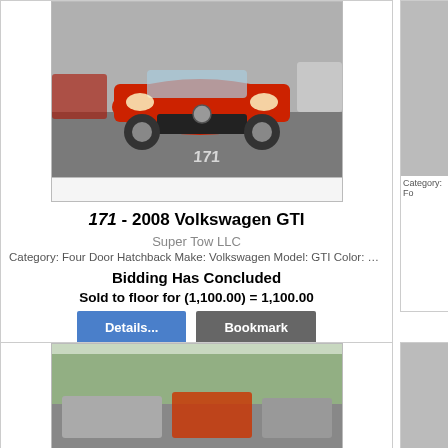[Figure (photo): Red Volkswagen GTI 2008, front view in parking lot, lot number 171 marked on ground]
171 - 2008 Volkswagen GTI
Super Tow LLC
Category: Four Door Hatchback Make: Volkswagen Model: GTI Color: …
Bidding Has Concluded
Sold to floor for (1,100.00) = 1,100.00
Details...
Bookmark
[Figure (photo): Partial view of cars in a parking lot, bottom card]